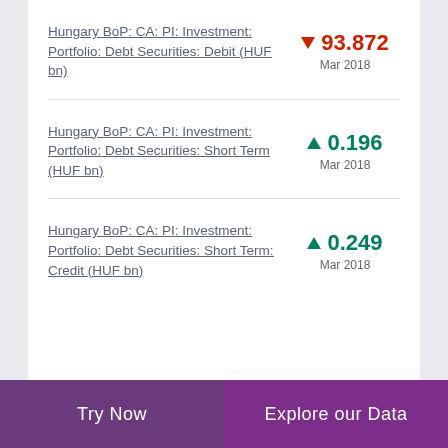Hungary BoP: CA: PI: Investment: Portfolio: Debt Securities: Debit (HUF bn)
Hungary BoP: CA: PI: Investment: Portfolio: Debt Securities: Short Term (HUF bn)
Hungary BoP: CA: PI: Investment: Portfolio: Debt Securities: Short Term: Credit (HUF bn)
Try Now | Explore our Data